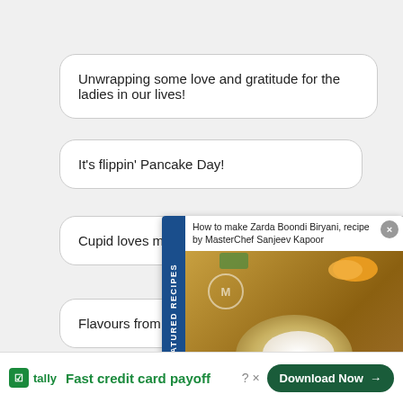Unwrapping some love and gratitude for the ladies in our lives!
It's flippin' Pancake Day!
Cupid loves more than just chocolate!
Flavours from the 'se...
There's 'unity in diver...
Less-known New Y...
[Figure (screenshot): Featured Recipes ad panel showing 'How to make Zarda Boondi Biryani, recipe by MasterChef Sanjeev Kapoor' with a photo of the dish and a close button]
[Figure (screenshot): Tally app advertisement banner: 'Fast credit card payoff' with Download Now button]